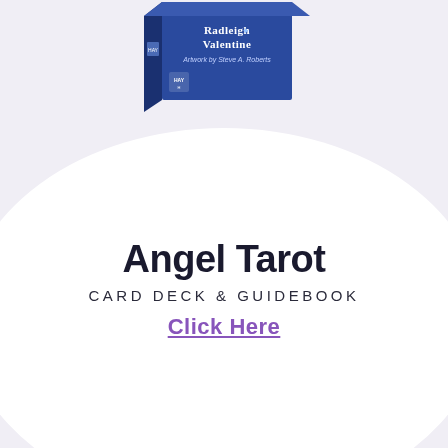[Figure (photo): Angel Tarot card deck box by Radleigh Valentine, artwork by Steve A. Roberts, published by Hay House. Blue box partially visible at top of page.]
Angel Tarot
CARD DECK & GUIDEBOOK
Click Here